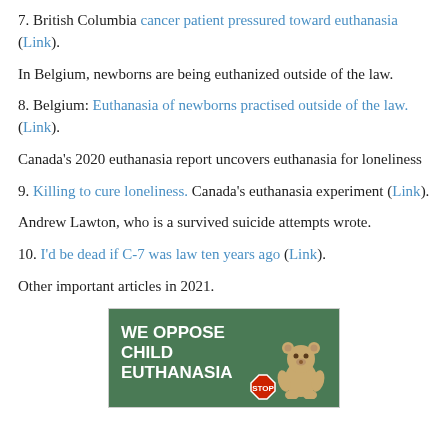7. British Columbia cancer patient pressured toward euthanasia (Link).
In Belgium, newborns are being euthanized outside of the law.
8. Belgium: Euthanasia of newborns practised outside of the law. (Link).
Canada's 2020 euthanasia report uncovers euthanasia for loneliness
9. Killing to cure loneliness. Canada's euthanasia experiment (Link).
Andrew Lawton, who is a survived suicide attempts wrote.
10. I'd be dead if C-7 was law ten years ago (Link).
Other important articles in 2021.
[Figure (photo): Image with text 'WE OPPOSE CHILD EUTHANASIA' with a teddy bear and stop sign on a green/outdoor background.]